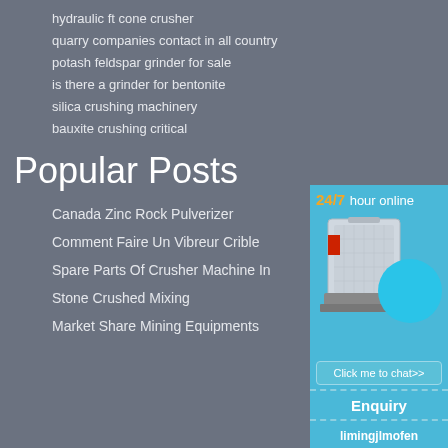hydraulic ft cone crusher
quarry companies contact in all country
potash feldspar grinder for sale
is there a grinder for bentonite
silica crushing machinery
bauxite crushing critical
Popular Posts
Canada Zinc Rock Pulverizer
Comment Faire Un Vibreur Crible
Spare Parts Of Crusher Machine In
Stone Crushed Mixing
Market Share Mining Equipments
[Figure (infographic): Blue panel widget showing '24/7 hour online', an image of a crusher machine, a 'Click me to chat>>' button, an 'Enquiry' section and 'limingjlmofen' text, all on a blue background.]